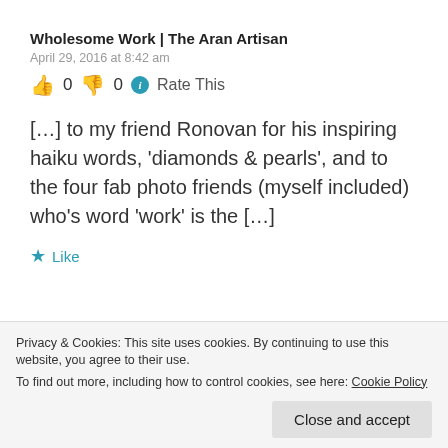Wholesome Work | The Aran Artisan
April 29, 2016 at 8:42 am
👍 0 👎 0 ℹ Rate This
[…] to my friend Ronovan for his inspiring haiku words, 'diamonds & pearls', and to the four fab photo friends (myself included) who's word 'work' is the […]
★ Like
Privacy & Cookies: This site uses cookies. By continuing to use this website, you agree to their use. To find out more, including how to control cookies, see here: Cookie Policy
Close and accept
April 29, 2016 at 11:36 am